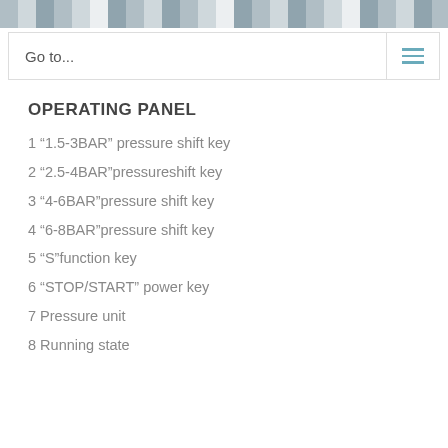OPERATING PANEL
1 “1.5-3BAR” pressure shift key
2 “2.5-4BAR” pressureshift key
3 “4-6BAR” pressure shift key
4 “6-8BAR” pressure shift key
5 “S” function key
6 “STOP/START” power key
7 Pressure unit
8 Running state